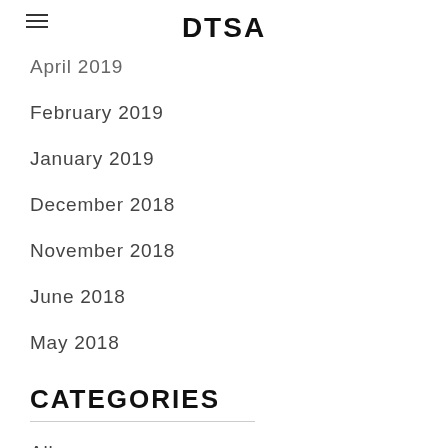DTSA
April 2019
February 2019
January 2019
December 2018
November 2018
June 2018
May 2018
CATEGORIES
All
RSS Feed